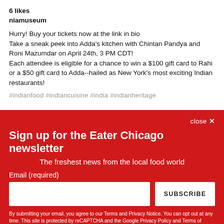6 likes
niamuseum
Hurry! Buy your tickets now at the link in bio Take a sneak peek into Adda's kitchen with Chintan Pandya and Roni Mazumdar on April 24th, 3 PM CDT! Each attendee is eligible for a chance to win a $100 gift card to Rahi or a $50 gift card to Adda--hailed as New York's most exciting Indian restaurants!
#indianfood #indiancuisine #india #indianheritage
close ×
Sign up for the Eater Chicago newsletter
The freshest news from the local food world
Email (required)
SUBSCRIBE
By submitting your email, you agree to our Terms and Privacy Notice. You can opt out at any time. This site is protected by reCAPTCHA and the Google Privacy Policy and Terms of Service apply.